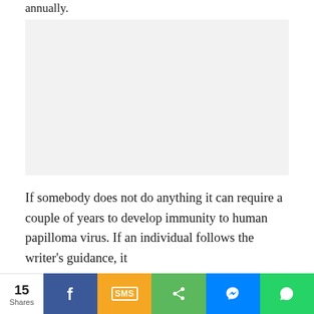annually.
[Figure (other): Advertisement placeholder box with light gray background]
If somebody does not do anything it can require a couple of years to develop immunity to human papilloma virus. If an individual follows the writer's guidance, it
15 Shares | Facebook | SMS | Share | Messenger | WhatsApp